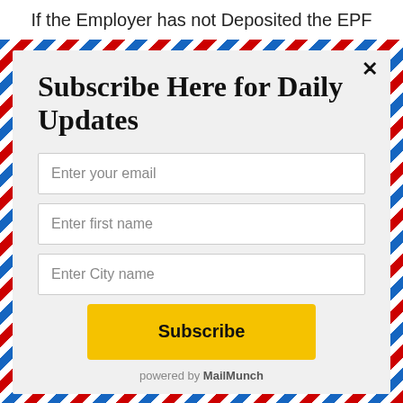If the Employer has not Deposited the EPF
Subscribe Here for Daily Updates
Enter your email
Enter first name
Enter City name
Subscribe
powered by MailMunch